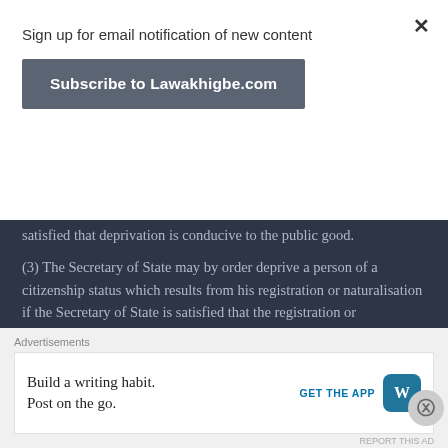Sign up for email notification of new content
Subscribe to Lawakhigbe.com
satisfied that deprivation is conducive to the public good.
(3) The Secretary of State may by order deprive a person of a citizenship status which results from his registration or naturalisation if the Secretary of State is satisfied that the registration or naturalisation was obtained by means of—
Advertisements
Advertisements
Build a writing habit.
Post on the go.
GET THE APP